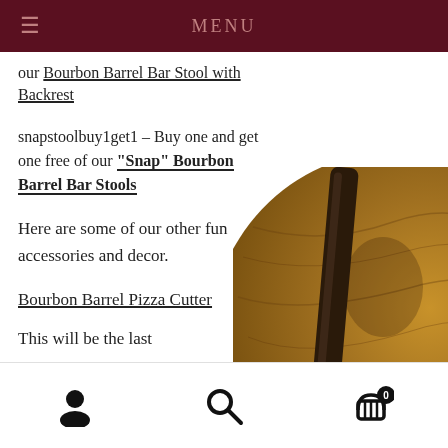MENU
our Bourbon Barrel Bar Stool with Backrest
snapstoolbuy1get1 – Buy one and get one free of our “Snap” Bourbon Barrel Bar Stools
Here are some of our other fun accessories and decor.
Bourbon Barrel Pizza Cutter
This will be the last
[Figure (photo): Close-up photo of a bourbon barrel pizza cutter showing the wooden barrel head surface with white lettering and a gold/brass pizza cutter wheel attached.]